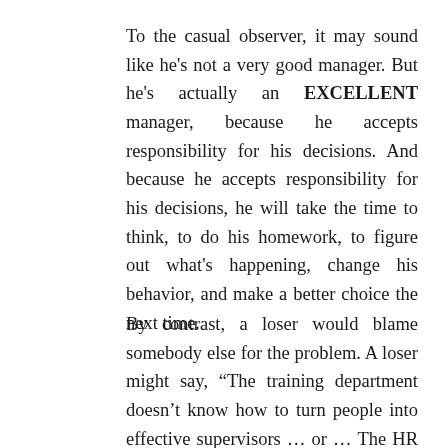To the casual observer, it may sound like he's not a very good manager. But he's actually an EXCELLENT manager, because he accepts responsibility for his decisions. And because he accepts responsibility for his decisions, he will take the time to think, to do his homework, to figure out what's happening, change his behavior, and make a better choice the next time.
By contrast, a loser would blame somebody else for the problem. A loser might say, “The training department doesn’t know how to turn people into effective supervisors … or … The HR department doesn’t send me good candidates … or … All the really good supervisors have been scooped by our competitors.” Blame, blame, blame.